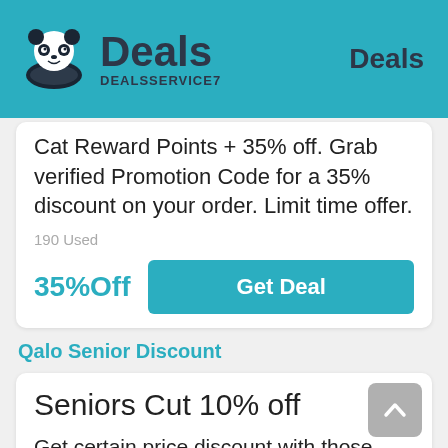Deals DEALSSERVICE7 | Deals
Cat Reward Points + 35% off. Grab verified Promotion Code for a 35% discount on your order. Limit time offer.
190 Used
35%Off
Get Deal
Qalo Senior Discount
Seniors Cut 10% off
Get certain price discount with those Discount Code and Qalo Discount Code. Get has a senior discount and